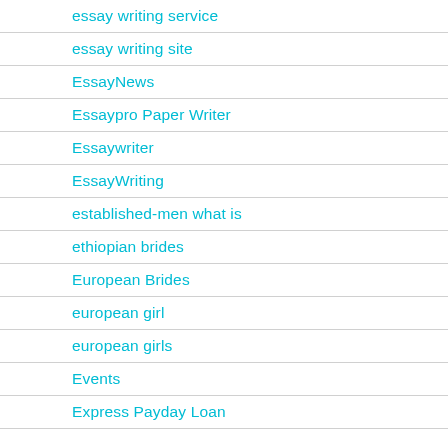essay writing service
essay writing site
EssayNews
Essaypro Paper Writer
Essaywriter
EssayWriting
established-men what is
ethiopian brides
European Brides
european girl
european girls
Events
Express Payday Loan